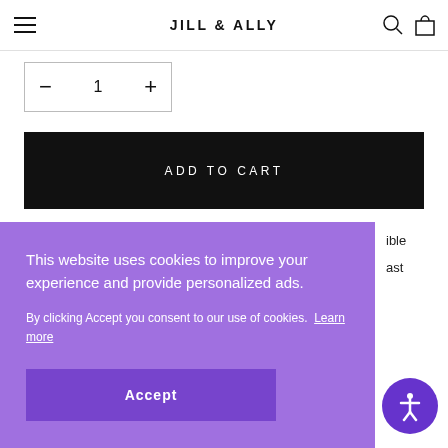JILL & ALLY
− 1 +
ADD TO CART
ible
ast
This website uses cookies to improve your experience and provide personalized ads.
By clicking Accept you consent to our use of cookies. Learn more
Accept